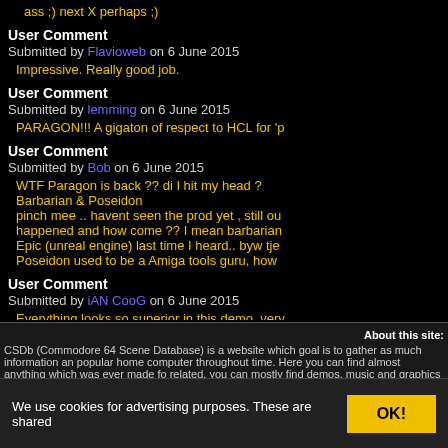ass ;) next X perhaps ;)
User Comment
Submitted by Flavioweb on 6 June 2015
Impressive. Really good job.
User Comment
Submitted by lemming on 6 June 2015
PARAGON!!! A gigaton of respect to HCL for 'p
User Comment
Submitted by Bob on 6 June 2015
WTF Paragon is back ?? di I hit my head ?
Barbarian & Poseidon
pinch mee .. havent seen the prod yet , still ou
happened and how come ?? I mean barbarian
Epic (unreal engine) last time I heard.. byw tje
Poseidon used to be a Amiga tools guru, how
User Comment
Submitted by iAN CooG on 6 June 2015
Everything looks so superior in this demo, very
About this site: CSDb (Commodore 64 Scene Database) is a website which goal is to gather as much information an popular home computer throughout time. Here you can find almost anything which was ever made fo related, you can mostly find demos, music and graphics made by the people who made the scene (t search box in the top right corner, or check out the CSD
We use cookies for advertising purposes. These are shared